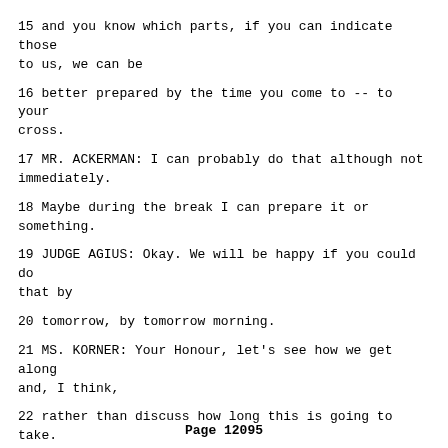15 and you know which parts, if you can indicate those to us, we can be
16 better prepared by the time you come to -- to your cross.
17 MR. ACKERMAN: I can probably do that although not immediately.
18 Maybe during the break I can prepare it or something.
19 JUDGE AGIUS: Okay. We will be happy if you could do that by
20 tomorrow, by tomorrow morning.
21 MS. KORNER: Your Honour, let's see how we get along and, I think,
22 rather than discuss how long this is going to take.
23 JUDGE AGIUS: Yes
24 Examined by Ms. Korner:
25 Q. Mr. Sejmenovic, good morning. I think your full name is Mevludin
Page 12095